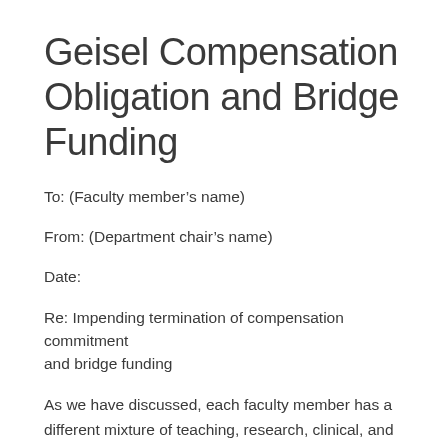Geisel Compensation Obligation and Bridge Funding
To: (Faculty member’s name)
From: (Department chair’s name)
Date:
Re: Impending termination of compensation commitment and bridge funding
As we have discussed, each faculty member has a different mixture of teaching, research, clinical, and administrative activities that in the aggregate support their employment